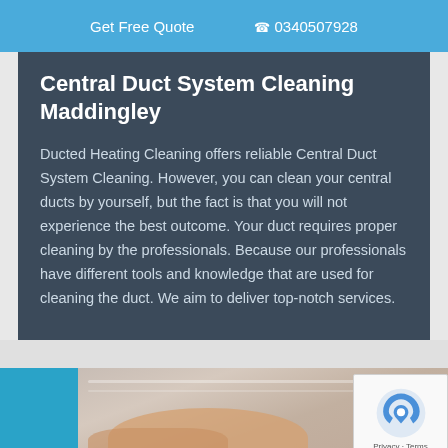Get Free Quote   0340507928
Central Duct System Cleaning Maddingley
Ducted Heating Cleaning offers reliable Central Duct System Cleaning. However, you can clean your central ducts by yourself, but the fact is that you will not experience the best outcome. Your duct requires proper cleaning by the professionals. Because our professionals have different tools and knowledge that are used for cleaning the duct. We aim to deliver top-notch services.
[Figure (photo): Bottom strip showing a person's hand near a duct vent, with a blue block on the left side]